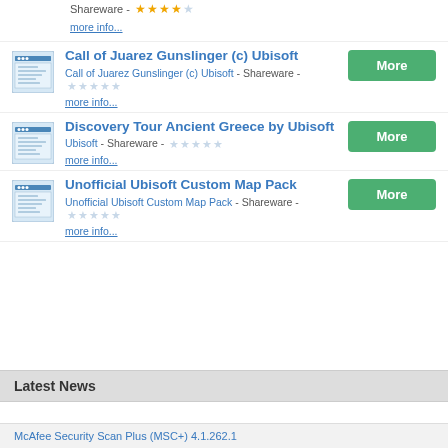Shareware - ★★★★☆
more info...
Call of Juarez Gunslinger (c) Ubisoft - Call of Juarez Gunslinger (c) Ubisoft - Shareware - ☆☆☆☆☆ - more info...
Discovery Tour Ancient Greece by Ubisoft - Ubisoft - Shareware - ☆☆☆☆☆ - more info...
Unofficial Ubisoft Custom Map Pack - Unofficial Ubisoft Custom Map Pack - Shareware - ☆☆☆☆☆ - more info...
Latest News
McAfee Security Scan Plus (MSC+) 4.1.262.1